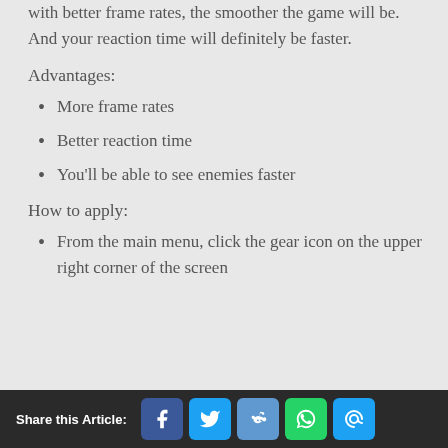with better frame rates, the smoother the game will be.  And your reaction time will definitely be faster.
Advantages:
More frame rates
Better reaction time
You'll be able to see enemies faster
How to apply:
From the main menu, click the gear icon on the upper right corner of the screen
Share this Article: